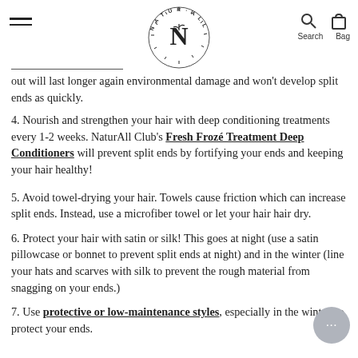NaturAll Club header with logo, search and bag icons
out will last longer against environmental damage and won't develop split ends as quickly.
4. Nourish and strengthen your hair with deep conditioning treatments every 1-2 weeks. NaturAll Club's Fresh Frozé Treatment Deep Conditioners will prevent split ends by fortifying your ends and keeping your hair healthy!
5. Avoid towel-drying your hair. Towels cause friction which can increase split ends. Instead, use a microfiber towel or let your hair hair dry.
6. Protect your hair with satin or silk! This goes at night (use a satin pillowcase or bonnet to prevent split ends at night) and in the winter (line your hats and scarves with silk to prevent the rough material from snagging on your ends.)
7. Use protective or low-maintenance styles, especially in the winter, to protect your ends.